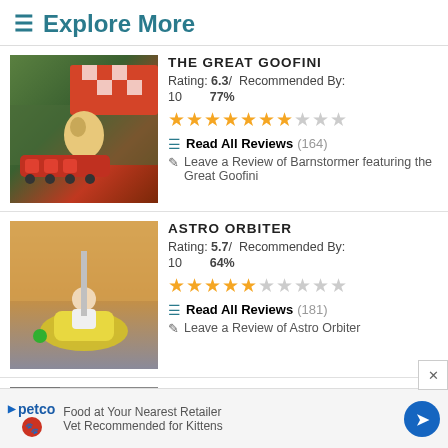≡ Explore More
[Figure (photo): Roller coaster with Goofy character and colorful checkered signage reading BARNSTORMER]
THE GREAT GOOFINI
Rating: 6.3/ Recommended By: 10  77%
[Figure (other): Star rating display: 7 filled stars out of 10]
Read All Reviews (164)
Leave a Review of Barnstormer featuring the Great Goofini
[Figure (photo): Child on Astro Orbiter ride at dusk]
ASTRO ORBITER
Rating: 5.7/ Recommended By: 10  64%
[Figure (other): Star rating display: 5 filled stars out of 10]
Read All Reviews (181)
Leave a Review of Astro Orbiter
[Figure (photo): Partial image of third attraction]
FAIRYTALE GARDEN WITH
Food at Your Nearest Retailer  Vet Recommended for Kittens